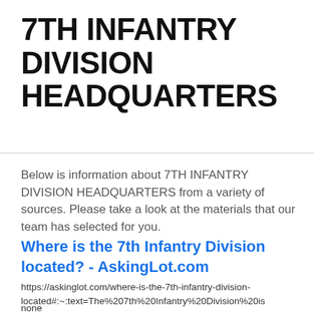7TH INFANTRY DIVISION HEADQUARTERS
Below is information about 7TH INFANTRY DIVISION HEADQUARTERS from a variety of sources. Please take a look at the materials that our team has selected for you.
Where is the 7th Infantry Division located? - AskingLot.com
https://askinglot.com/where-is-the-7th-infantry-division-located#:~:text=The%207th%20Infantry%20Division%20is
none